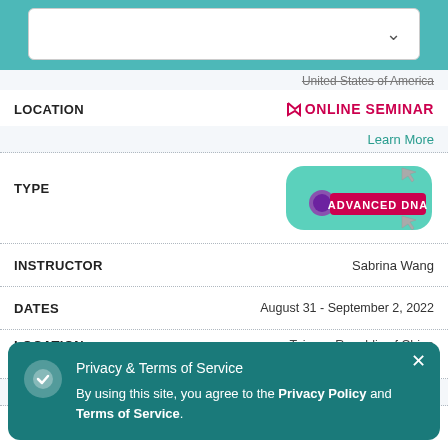[Figure (screenshot): Dropdown selector UI element with white background and down-chevron arrow]
United States of America
LOCATION
[Figure (illustration): ONLINE SEMINAR label with cursor icon in red/magenta]
Learn More
TYPE
[Figure (logo): Advanced DNA badge - teal rounded rectangle with red ADVANCED DNA label and cursor/DNA graphics]
INSTRUCTOR
Sabrina Wang
DATES
August 31 - September 2, 2022
LOCATION
Taiwan, Republic of China
[Figure (illustration): ONLINE SEMINAR label with cursor icon in red/magenta]
Learn More
Privacy & Terms of Service
By using this site, you agree to the Privacy Policy and Terms of Service.